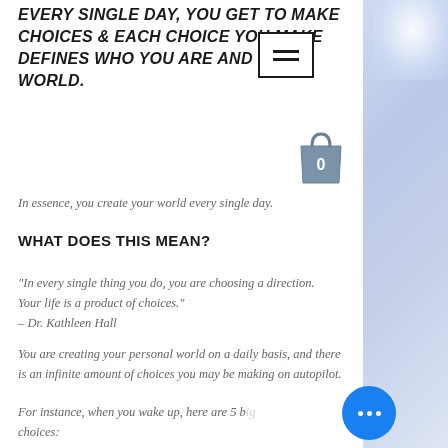EVERY SINGLE DAY, YOU GET TO MAKE CHOICES & EACH CHOICE YOU MAKE DEFINES WHO YOU ARE AND YOUR WORLD.
[Figure (illustration): Shopping bag icon with number 0 on it, gray colored]
In essence, you create your world every single day.
WHAT DOES THIS MEAN?
"In every single thing you do, you are choosing a direction. Your life is a product of choices." – Dr. Kathleen Hall
You are creating your personal world on a daily basis, and there is an infinite amount of choices you may be making on autopilot.
For instance, when you wake up, here are 5 big choices: